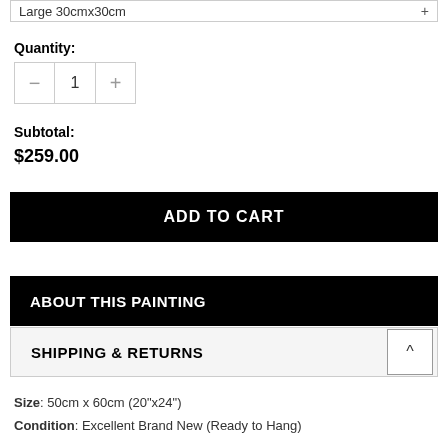Large 30cmx30cm
Quantity:
1
Subtotal:
$259.00
ADD TO CART
ABOUT THIS PAINTING
SHIPPING & RETURNS
Size: 50cm x 60cm (20"x24")
Condition: Excellent Brand New (Ready to Hang)